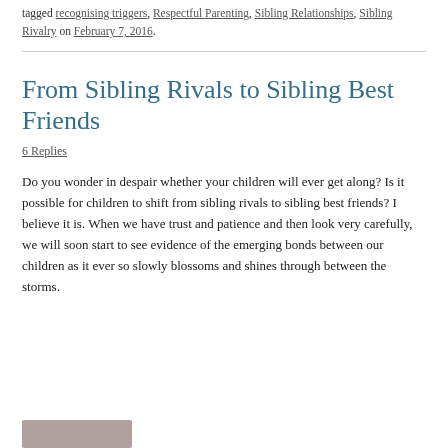This entry was posted in Parenting Positively, Sibling Rivalry and tagged recognising triggers, Respectful Parenting, Sibling Relationships, Sibling Rivalry on February 7, 2016.
From Sibling Rivals to Sibling Best Friends
6 Replies
Do you wonder in despair whether your children will ever get along? Is it possible for children to shift from sibling rivals to sibling best friends? I believe it is. When we have trust and patience and then look very carefully, we will soon start to see evidence of the emerging bonds between our children as it ever so slowly blossoms and shines through between the storms.
[Figure (photo): Partial photo visible at bottom of page]